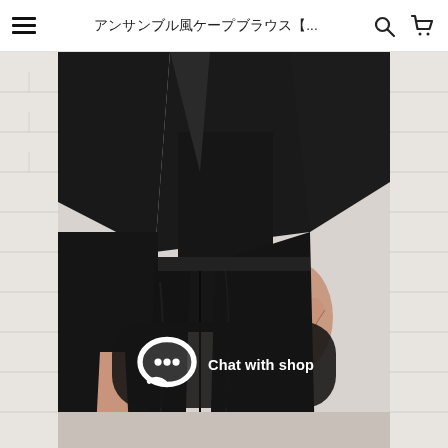アンサンブル風ケープブラウス【...
[Figure (photo): Close-up photo of a woman wearing a black cape-style blouse and black slim pants, hand resting at hip. Background shows white brick/marble décor.]
Chat with shop